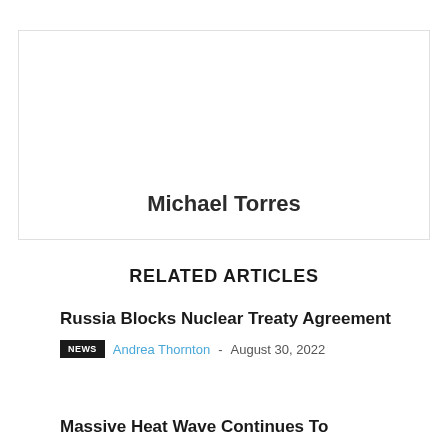[Figure (photo): Author profile box with name Michael Torres centered at bottom]
RELATED ARTICLES
Russia Blocks Nuclear Treaty Agreement
NEWS  Andrea Thornton - August 30, 2022
Massive Heat Wave Continues To